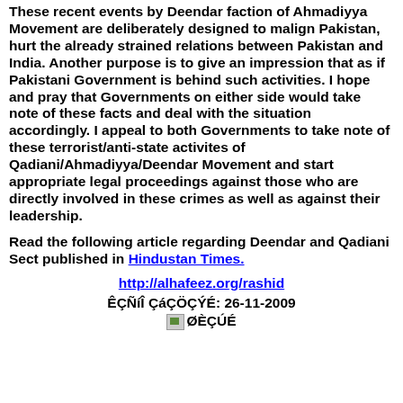These recent events by Deendar faction of Ahmadiyya Movement are deliberately designed to malign Pakistan, hurt the already strained relations between Pakistan and India. Another purpose is to give an impression that as if Pakistani Government is behind such activities. I hope and pray that Governments on either side would take note of these facts and deal with the situation accordingly. I appeal to both Governments to take note of these terrorist/anti-state activites of Qadiani/Ahmadiyya/Deendar Movement and start appropriate legal proceedings against those who are directly involved in these crimes as well as against their leadership.
Read the following article regarding Deendar and Qadiani Sect published in Hindustan Times.
http://alhafeez.org/rashid
ÊÇÑíÎ ÇáÇÖÇÝÉ: 26-11-2009
[Figure (other): Small icon/image placeholder labeled ØÈÇÚÉ]